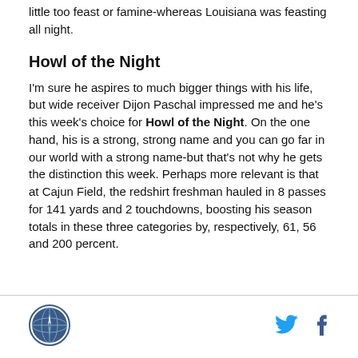little too feast or famine-whereas Louisiana was feasting all night.
Howl of the Night
I'm sure he aspires to much bigger things with his life, but wide receiver Dijon Paschal impressed me and he's this week's choice for Howl of the Night. On the one hand, his is a strong, strong name and you can go far in our world with a strong name-but that's not why he gets the distinction this week. Perhaps more relevant is that at Cajun Field, the redshirt freshman hauled in 8 passes for 141 yards and 2 touchdowns, boosting his season totals in these three categories by, respectively, 61, 56 and 200 percent.
[Figure (logo): Site logo - circular emblem with compass/globe design]
[Figure (logo): Twitter bird icon]
[Figure (logo): Facebook f icon]